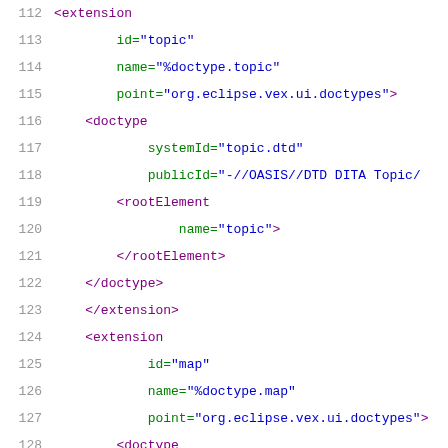XML source code listing lines 112-132 showing extension and doctype XML elements